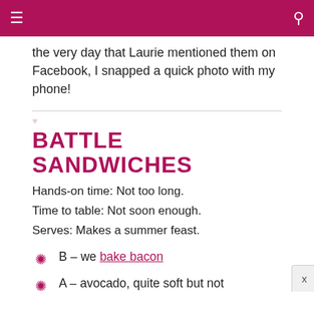≡  🔍
the very day that Laurie mentioned them on Facebook, I snapped a quick photo with my phone!
BATTLE SANDWICHES
Hands-on time: Not too long.
Time to table: Not soon enough.
Serves: Makes a summer feast.
B – we bake bacon
A – avocado, quite soft but not